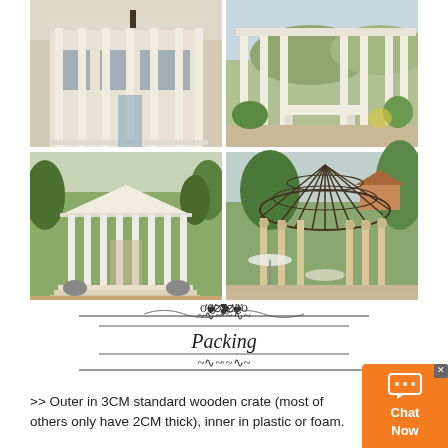[Figure (photo): Four photos of neoclassical architecture and garden structures: top-left shows a white building facade with tall columns, top-right shows a white garden pergola/colonnade with bench, bottom-left shows a white neoclassical temple structure with columns and pediment, bottom-right shows an ornate stone gazebo with figurative columns and iron dome roof]
[Figure (illustration): Decorative divider with the word 'Packing' in italic script, flanked by ornamental flourishes and double horizontal lines]
>> Outer in 3CM standard wooden crate (most of others only have 2CM thick), inner in plastic or foam.
>> You Fine will buy full insurance for your goods, to make